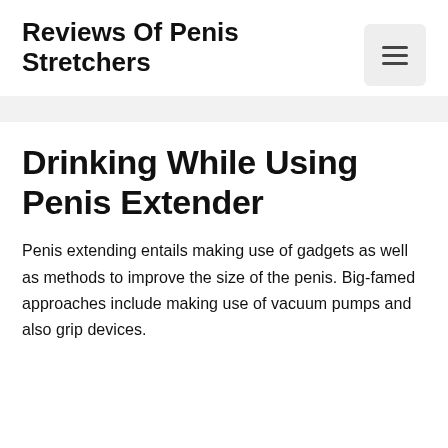Reviews Of Penis Stretchers
Drinking While Using Penis Extender
Penis extending entails making use of gadgets as well as methods to improve the size of the penis. Big-famed approaches include making use of vacuum pumps and also grip devices.